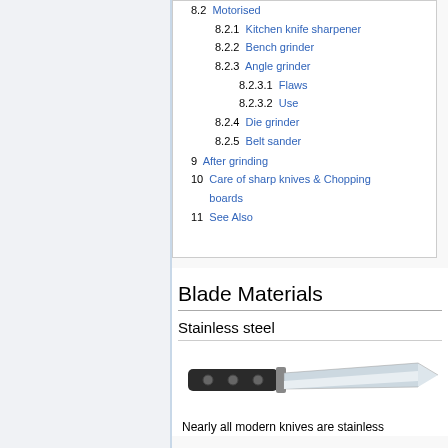8.2  Motorised
8.2.1  Kitchen knife sharpener
8.2.2  Bench grinder
8.2.3  Angle grinder
8.2.3.1  Flaws
8.2.3.2  Use
8.2.4  Die grinder
8.2.5  Belt sander
9  After grinding
10  Care of sharp knives & Chopping boards
11  See Also
Blade Materials
Stainless steel
[Figure (photo): A stainless steel kitchen knife with a black handle, viewed from the side.]
Nearly all modern knives are stainless